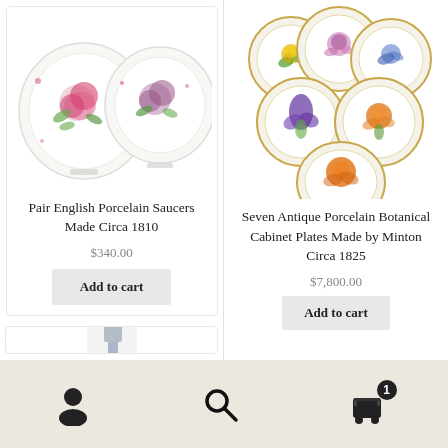[Figure (photo): Two floral-decorated English porcelain saucers with pink roses and green foliage on white background]
Pair English Porcelain Saucers Made Circa 1810
$340.00
Add to cart
[Figure (photo): Seven antique porcelain botanical cabinet plates arranged in a cluster, each decorated with different botanical illustrations including flowers on white with gold rims, made by Minton]
Seven Antique Porcelain Botanical Cabinet Plates Made by Minton Circa 1825
$7,800.00
Add to cart